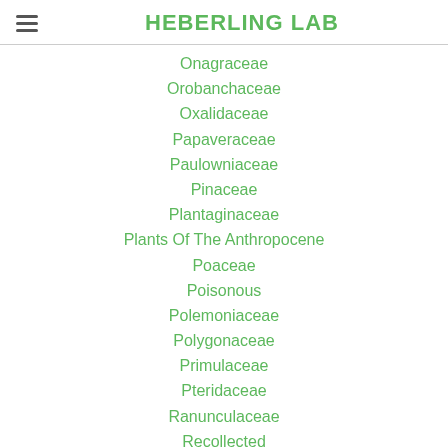HEBERLING LAB
Onagraceae
Orobanchaceae
Oxalidaceae
Papaveraceae
Paulowniaceae
Pinaceae
Plantaginaceae
Plants Of The Anthropocene
Poaceae
Poisonous
Polemoniaceae
Polygonaceae
Primulaceae
Pteridaceae
Ranunculaceae
Recollected
Recollection
Rhamnaceae
Rosaceae